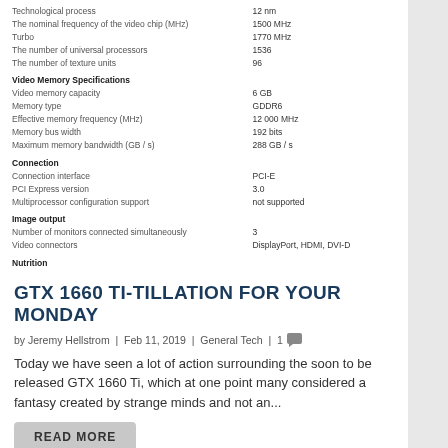| Property | Value |
| --- | --- |
| Technological process | 12 nm |
| The nominal frequency of the video chip (MHz) | 1500 MHz |
| Turbo | 1770 MHz |
| The number of universal processors | 1536 |
| The number of texture units | 96 |
| Video Memory Specifications |  |
| Video memory capacity | 6 GB |
| Memory type | GDDR6 |
| Effective memory frequency (MHz) | 12 000 MHz |
| Memory bus width | 192 bits |
| Maximum memory bandwidth (GB / s) | 288 GB / s |
| Connection |  |
| Connection interface | PCI-E |
| PCI Express version | 3.0 |
| Multiprocessor configuration support | not supported |
| Image output |  |
| Number of monitors connected simultaneously | 3 |
| Video connectors | DisplayPort, HDMI, DVI-D |
| Nutrition |  |
| The need for additional power | there is |
| Additional power connectors | 8-pin |
| Recommended power supply | 450 watts |
GTX 1660 TI-TILLATION FOR YOUR MONDAY
by Jeremy Hellstrom | Feb 11, 2019 | General Tech | 1
Today we have seen a lot of action surrounding the soon to be released GTX 1660 Ti, which at one point many considered a fantasy created by strange minds and not an...
READ MORE